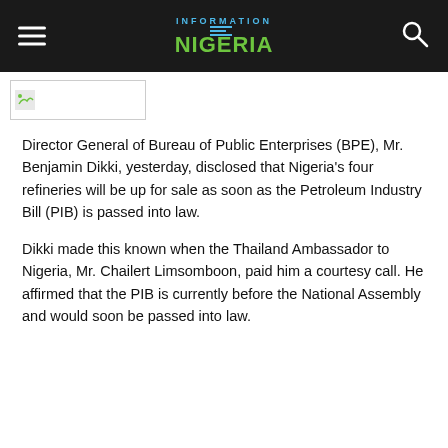INFORMATION NIGERIA
[Figure (logo): Small image thumbnail placeholder with a leaf/icon visible]
Director General of Bureau of Public Enterprises (BPE), Mr. Benjamin Dikki, yesterday, disclosed that Nigeria’s four refineries will be up for sale as soon as the Petroleum Industry Bill (PIB) is passed into law.
Dikki made this known when the Thailand Ambassador to Nigeria, Mr. Chailert Limsomboon, paid him a courtesy call. He affirmed that the PIB is currently before the National Assembly and would soon be passed into law.